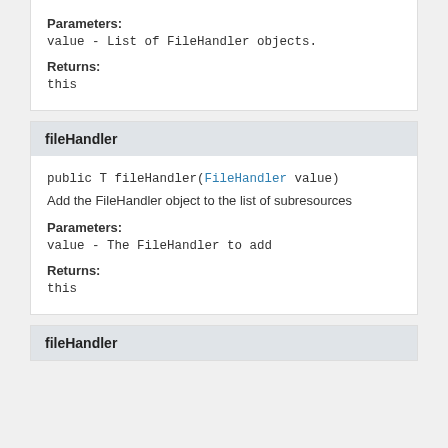Parameters:
value - List of FileHandler objects.
Returns:
this
fileHandler
public T fileHandler(FileHandler value)
Add the FileHandler object to the list of subresources
Parameters:
value - The FileHandler to add
Returns:
this
fileHandler